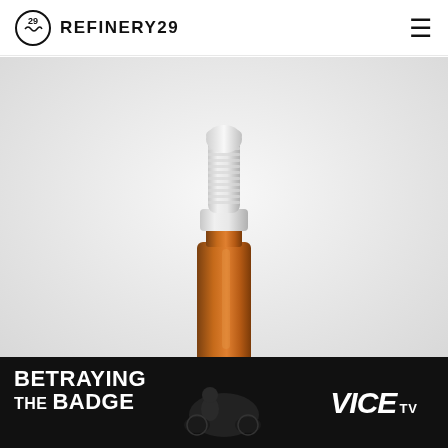REFINERY29
[Figure (photo): An amber glass spray bottle with a white pump/spray top, photographed against a light grey-white background. The bottle is tall and narrow with the spray nozzle mechanism visible at the top.]
[Figure (photo): Advertisement banner for 'Betraying The Badge' on VICE TV. Dark background with white bold text 'BETRAYING THE BADGE' on the left, a figure of a person on a motorcycle in the center, and the VICE TV logo on the right.]